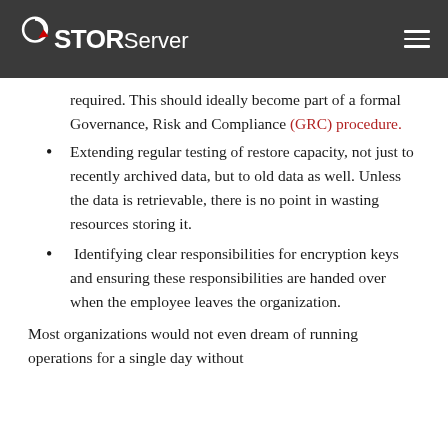STORServer
required. This should ideally become part of a formal Governance, Risk and Compliance (GRC) procedure.
Extending regular testing of restore capacity, not just to recently archived data, but to old data as well. Unless the data is retrievable, there is no point in wasting resources storing it.
Identifying clear responsibilities for encryption keys and ensuring these responsibilities are handed over when the employee leaves the organization.
Most organizations would not even dream of running operations for a single day without